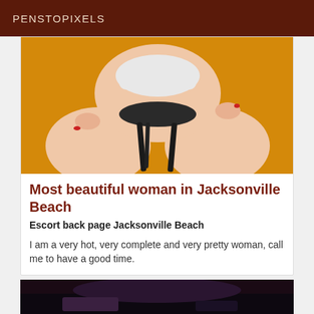PENSTOPIXELS
[Figure (photo): Close-up photo of a woman seated on a bar stool against an orange/yellow background, wearing white underwear, showing legs and hips.]
Most beautiful woman in Jacksonville Beach
Escort back page Jacksonville Beach
I am a very hot, very complete and very pretty woman, call me to have a good time.
[Figure (photo): Partial view of a person in dark setting, bottom of page.]